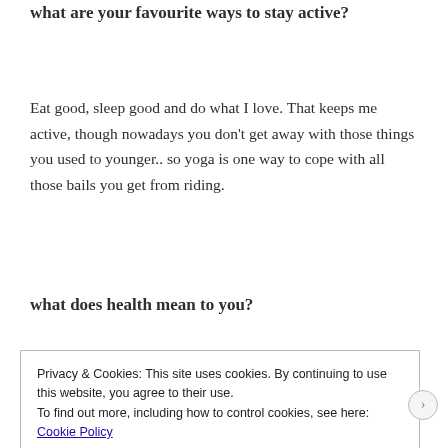what are your favourite ways to stay active?
Eat good, sleep good and do what I love. That keeps me active, though nowadays you don't get away with those things you used to younger.. so yoga is one way to cope with all those bails you get from riding.
what does health mean to you?
Privacy & Cookies: This site uses cookies. By continuing to use this website, you agree to their use.
To find out more, including how to control cookies, see here: Cookie Policy
Close and accept